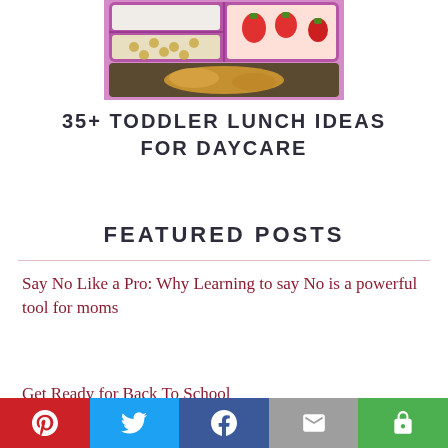[Figure (photo): Photo of a toddler lunch box with colorful food sections including cheerios, strawberries, and what appears to be peanut butter]
35+ TODDLER LUNCH IDEAS FOR DAYCARE
FEATURED POSTS
Say No Like a Pro: Why Learning to say No is a powerful tool for moms
Get Ready for Back To School
[Figure (infographic): Social sharing bar with Pinterest (red), Twitter (blue), Facebook (dark blue), Email (grey), and More (green) buttons]